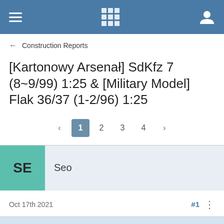Navigation bar with hamburger menu, grid icon, and user icon
← Construction Reports
[Kartonowy Arsenał] SdKfz 7 (8~9/99) 1:25 & [Military Model] Flak 36/37 (1-2/96) 1:25
Pagination: < 1 2 3 4 >
SE  Seo
Oct 17th 2021   #1  ⋮
This site uses cookies. By continuing to browse this site, you are agreeing to our use of cookies.
More Details  Close